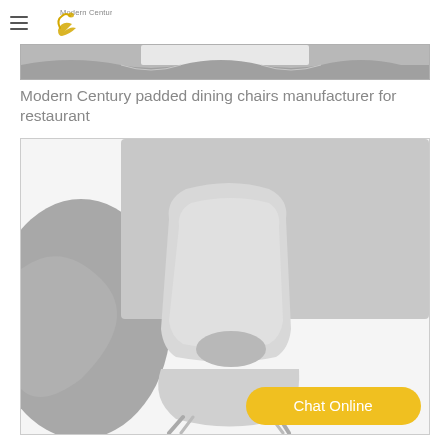Modern Century [logo]
[Figure (photo): Partial top banner image showing a grey decorative element with wave shapes at the bottom]
Modern Century padded dining chairs manufacturer for restaurant
[Figure (photo): Product photo of a light grey padded dining chair with metal legs on a grey and white decorative background, with a Chat Online button overlay]